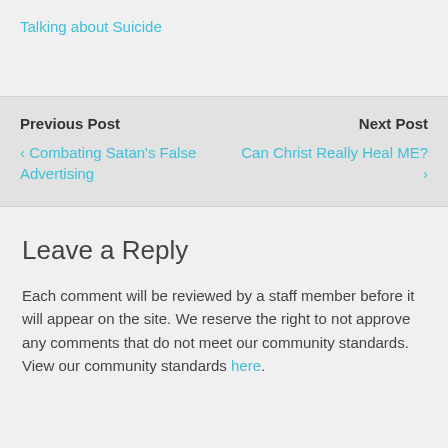Talking about Suicide
Previous Post
‹ Combating Satan's False Advertising
Next Post
Can Christ Really Heal ME? ›
Leave a Reply
Each comment will be reviewed by a staff member before it will appear on the site. We reserve the right to not approve any comments that do not meet our community standards. View our community standards here.